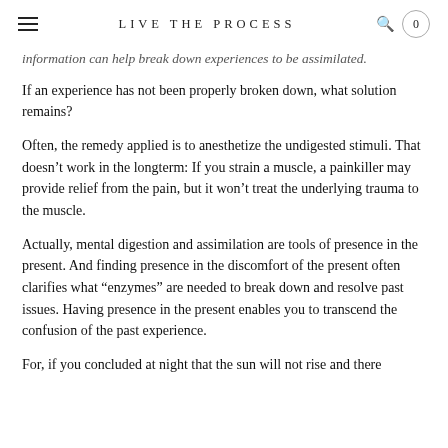LIVE THE PROCESS
information can help break down experiences to be assimilated.
If an experience has not been properly broken down, what solution remains?
Often, the remedy applied is to anesthetize the undigested stimuli. That doesn't work in the longterm: If you strain a muscle, a painkiller may provide relief from the pain, but it won't treat the underlying trauma to the muscle.
Actually, mental digestion and assimilation are tools of presence in the present. And finding presence in the discomfort of the present often clarifies what “enzymes” are needed to break down and resolve past issues. Having presence in the present enables you to transcend the confusion of the past experience.
For, if you concluded at night that the sun will not rise and there